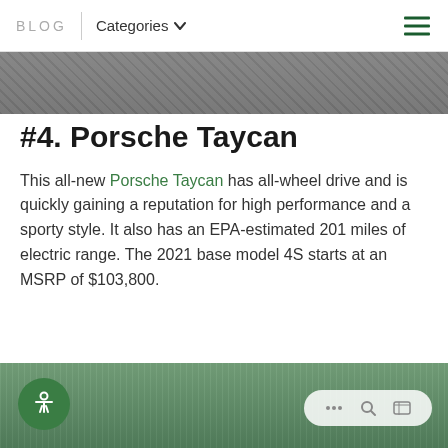BLOG | Categories
[Figure (photo): Top portion of a road or asphalt surface photo, partially cropped]
#4. Porsche Taycan
This all-new Porsche Taycan has all-wheel drive and is quickly gaining a reputation for high performance and a sporty style. It also has an EPA-estimated 201 miles of electric range. The 2021 base model 4S starts at an MSRP of $103,800.
[Figure (photo): Bottom portion showing a modern glass building with trees in foreground]